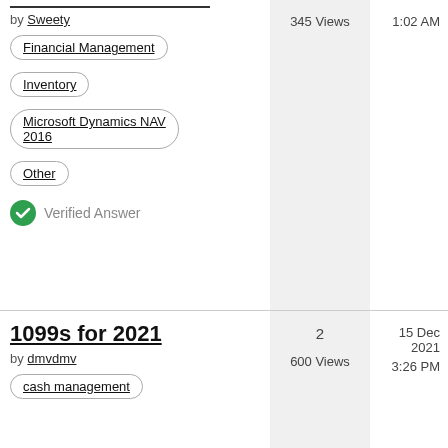by Sweety
Financial Management
Inventory
Microsoft Dynamics NAV 2016
Other
Verified Answer
345 Views
1:02 AM
1099s for 2021
by dmvdmv
cash management
2
600 Views
15 Dec 2021
3:26 PM